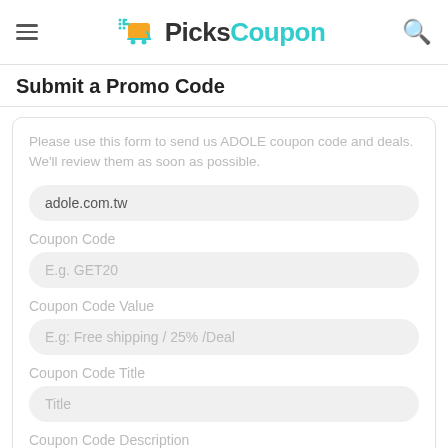PicksCoupon
Submit a Promo Code
Please use this form to send us ADOLE coupon code and deals. We'll review them as soon as possible.
adole.com.tw
Coupon Code
E.g. GET20
Coupon Code Value
E.g: Free shipping / 25% /Deal
Coupon Code Title
Title
Coupon Code Description
Description